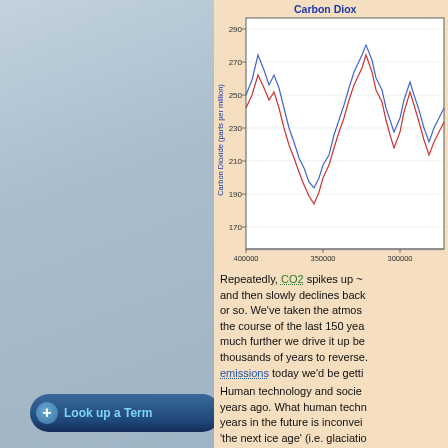[Figure (continuous-plot): Line chart showing Carbon Dioxide (parts per million) over time from 400000 to ~250000 years before present. Two lines (blue and red) oscillate between ~170 and ~295 ppm, showing glacial-interglacial cycles. Y-axis: 170–290 ppm. X-axis: 400000 to 300000 (years, going right to left).]
Repeatedly, CO2 spikes up ~ and then slowly declines back or so. We've taken the atmos the course of the last 150 yea much further we drive it up be thousands of years to reverse. emissions today we'd be getti 'interglacial' warming period /
Human technology and socie years ago. What human techn years in the future is inconvei 'the next ice age' (i.e. glaciatio
Look up a Term